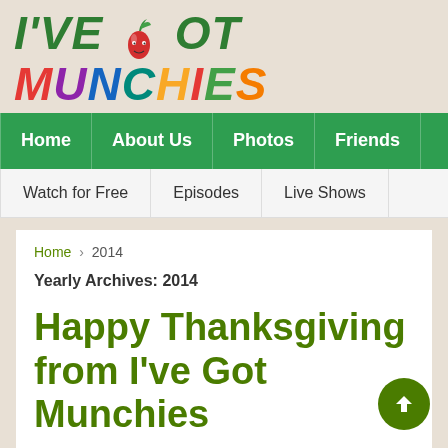I'VE GOT MUNCHIES
Home | About Us | Photos | Friends
Watch for Free | Episodes | Live Shows
Home › 2014
Yearly Archives: 2014
Happy Thanksgiving from I've Got Munchies
Posted on November 28, 2014 | by